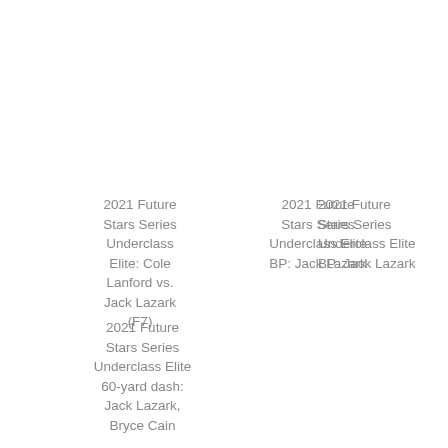2021 Future Stars Series Underclass Elite: Cole Lanford vs. Jack Lazark (F7)
2021 Future Stars Series Underclass Elite BP: Jack Lazark
2021 Future Stars Series Underclass Elite BP: Jack Lazark
2021 Future Stars Series Underclass Elite 60-yard dash: Jack Lazark, Bryce Cain